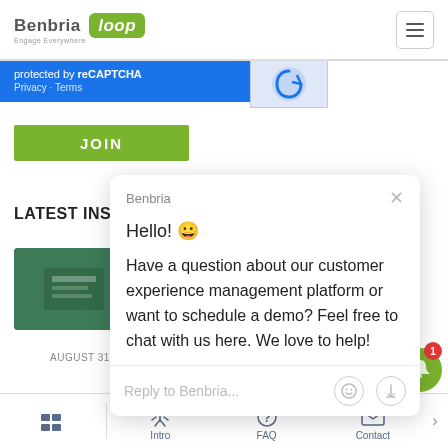Benbria Loop — Engage Everywhere (navigation header with hamburger menu)
protected by reCAPTCHA Privacy · Terms
JOIN
LATEST INSIGHTS
[Figure (screenshot): Chat popup from Benbria showing greeting: Hello! 😀 Have a question about our customer experience management platform or want to schedule a demo? Feel free to chat with us here. We love to help! With reply input field.]
How Facility Managers Can Optimize Wor…
AUGUST 31, 2022   BY NICOLE JARDIM
Bottom navigation: Intro | FAQ | Contact